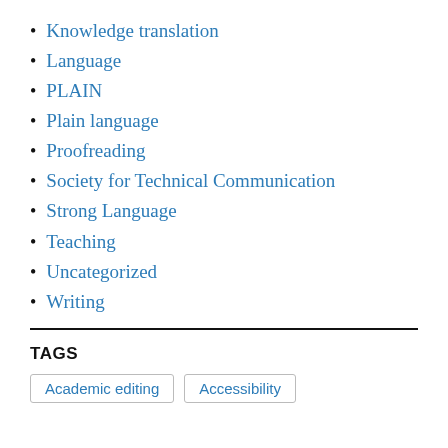Knowledge translation
Language
PLAIN
Plain language
Proofreading
Society for Technical Communication
Strong Language
Teaching
Uncategorized
Writing
TAGS
Academic editing  Accessibility